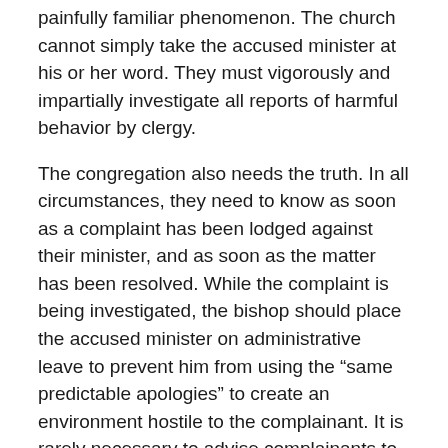painfully familiar phenomenon. The church cannot simply take the accused minister at his or her word. They must vigorously and impartially investigate all reports of harmful behavior by clergy.
The congregation also needs the truth. In all circumstances, they need to know as soon as a complaint has been lodged against their minister, and as soon as the matter has been resolved. While the complaint is being investigated, the bishop should place the accused minister on administrative leave to prevent him from using the “same predictable apologies” to create an environment hostile to the complainant. It is rarely necessary to advise complainants to lie low; by this point, most are too traumatized to participate in congregational life.
Administer Justice